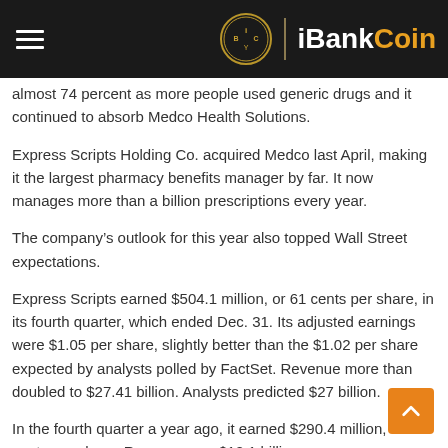iBankCoin
almost 74 percent as more people used generic drugs and it continued to absorb Medco Health Solutions.
Express Scripts Holding Co. acquired Medco last April, making it the largest pharmacy benefits manager by far. It now manages more than a billion prescriptions every year.
The company’s outlook for this year also topped Wall Street expectations.
Express Scripts earned $504.1 million, or 61 cents per share, in its fourth quarter, which ended Dec. 31. Its adjusted earnings were $1.05 per share, slightly better than the $1.02 per share expected by analysts polled by FactSet. Revenue more than doubled to $27.41 billion. Analysts predicted $27 billion.
In the fourth quarter a year ago, it earned $290.4 million, or 59 cents per share. Revenue was $12.1 billion.
The company’s $29.1 billion acquisition of Medco made